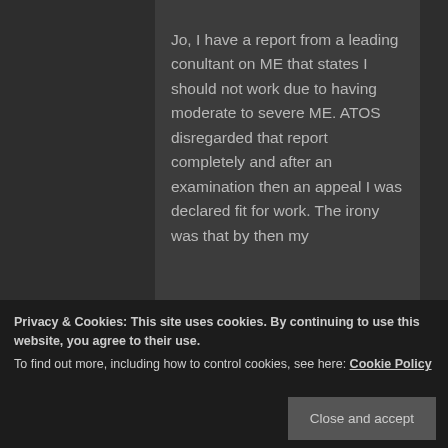Jo, I have a report from a leading conultant on ME that states I should not work due to having moderate to severe ME. ATOS disregarded that report completely and after an examination then an appeal I was declared fit for work. The irony was that by then my
Privacy & Cookies: This site uses cookies. By continuing to use this website, you agree to their use.
To find out more, including how to control cookies, see here: Cookie Policy
long one:) If ATOS had not